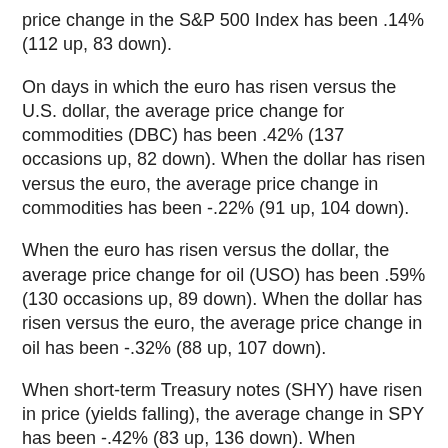price change in the S&P 500 Index has been .14% (112 up, 83 down).
On days in which the euro has risen versus the U.S. dollar, the average price change for commodities (DBC) has been .42% (137 occasions up, 82 down). When the dollar has risen versus the euro, the average price change in commodities has been -.22% (91 up, 104 down).
When the euro has risen versus the dollar, the average price change for oil (USO) has been .59% (130 occasions up, 89 down). When the dollar has risen versus the euro, the average price change in oil has been -.32% (88 up, 107 down).
When short-term Treasury notes (SHY) have risen in price (yields falling), the average change in SPY has been -.42% (83 up, 136 down). When Treasury notes have fallen in price (yields rising), the average price change in SPY has been .44% (136 up, 59 down). When short-term notes have risen in price, USO has averaged a gain of .24% (123 up, 96 down). When short-term notes have fallen, USO has